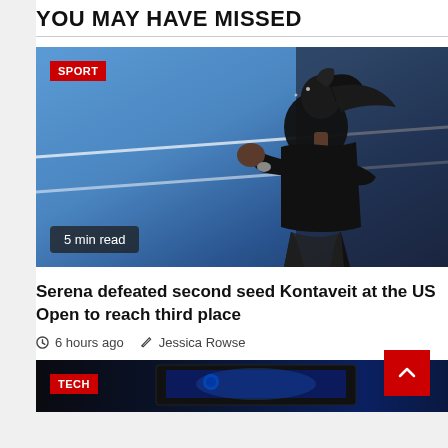YOU MAY HAVE MISSED
[Figure (photo): Serena Williams in black outfit on tennis court, fist raised, blue court background. SPORT badge top-left, '5 min read' badge bottom-left.]
Serena defeated second seed Kontaveit at the US Open to reach third place
6 hours ago   Jessica Rowse
[Figure (photo): Partial view of tech-related image with laptop/screen, blue tones. TECH badge visible top-left.]